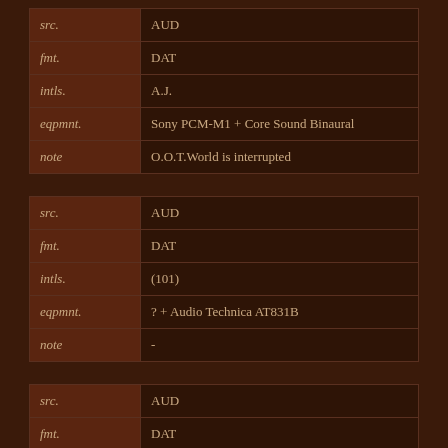| label | value |
| --- | --- |
| src. | AUD |
| fmt. | DAT |
| intls. | A.J. |
| eqpmnt. | Sony PCM-M1 + Core Sound Binaural |
| note | O.O.T.World is interrupted |
| label | value |
| --- | --- |
| src. | AUD |
| fmt. | DAT |
| intls. | (101) |
| eqpmnt. | ? + Audio Technica AT831B |
| note | - |
| label | value |
| --- | --- |
| src. | AUD |
| fmt. | DAT |